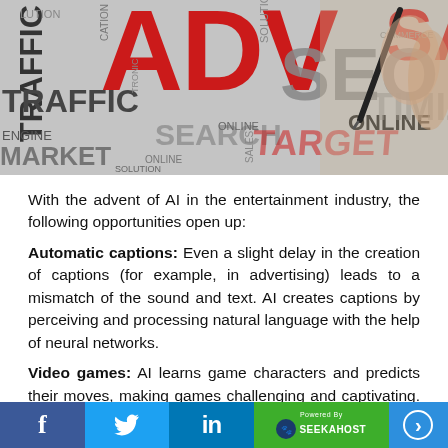[Figure (illustration): Word cloud / collage image with advertising and digital marketing terms in red, gray, and black. Words include ADVE(RTISING), SEO, TRAFFIC, SEARCH, TARGET, ONLINE, SOLUTION, MARKET, ENGINE and others. A hand holding a pen is visible on the right side.]
With the advent of AI in the entertainment industry, the following opportunities open up:
Automatic captions: Even a slight delay in the creation of captions (for example, in advertising) leads to a mismatch of the sound and text. AI creates captions by perceiving and processing natural language with the help of neural networks.
Video games: AI learns game characters and predicts their moves, making games challenging and captivating. This is a significant bonus for promoting these products on the market.
Sports broadcasts: AI is trained to recognize objects and actions
f  [Twitter bird]  in  Powered By SEEKAHOST  [arrow]